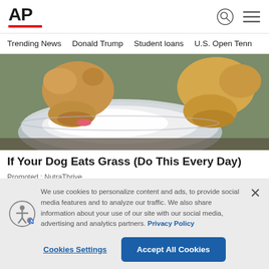AP
Trending News   Donald Trump   Student loans   U.S. Open Tenn
[Figure (photo): Two puppies eating from a bowl filled with white cream/food, photographed outdoors]
If Your Dog Eats Grass (Do This Every Day)
Promoted : NutraThrive
We use cookies to personalize content and ads, to provide social media features and to analyze our traffic. We also share information about your use of our site with our social media, advertising and analytics partners. Privacy Policy
Cookies Settings   Accept All Cookies